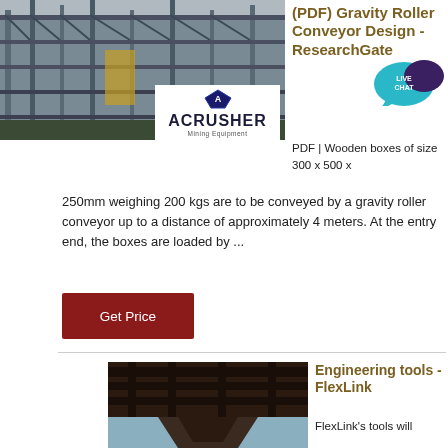[Figure (photo): Industrial mining/conveyor facility structure with steel framework, and ACRUSHER Mining Equipment logo overlay]
(PDF) Gravity Roller Conveyor Design - ResearchGate
[Figure (illustration): Live Chat speech bubble badge in teal and dark purple]
PDF | Wooden boxes of size 300 x 500 x 250mm weighing 200 kgs are to be conveyed by a gravity roller conveyor up to a distance of approximately 4 meters. At the entry end, the boxes are loaded by ...
Get Price
[Figure (photo): Underside view of heavy industrial steel conveyor structure against sky]
Engineering tools - FlexLink
FlexLink's tools will